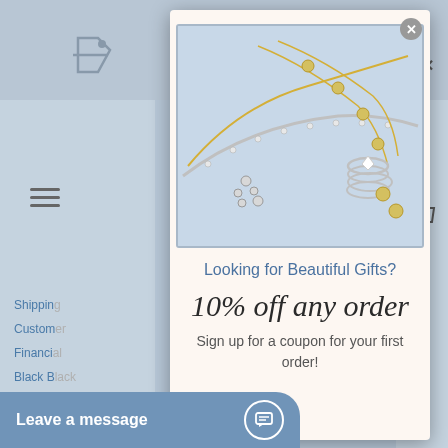[Figure (screenshot): Background website screenshot showing a jewelry retail website with navigation sidebar links: Shipping, Customer, Financial, Black B..., Privacy, Useful, Our Re..., Protect, Reward, Jewelry, Military. Search and bag icons on right. Hamburger menu and tag icon on left.]
[Figure (photo): Modal popup showing jewelry photo with bracelets, necklaces, and rings on a light blue background]
Looking for Beautiful Gifts?
10% off any order
Sign up for a coupon for your first order!
Leave a message